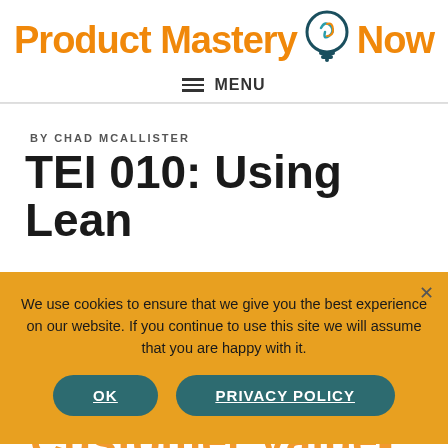[Figure (logo): Product Mastery Now logo with orange text and teal lightbulb icon]
≡ MENU
BY CHAD MCALLISTER
TEI 010: Using Lean to Run Experiments and Deliver Customer Value- with Ash Maurya
We use cookies to ensure that we give you the best experience on our website. If you continue to use this site we will assume that you are happy with it.
OK    PRIVACY POLICY